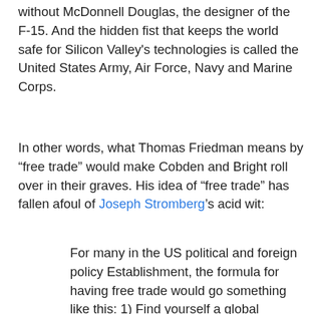without McDonnell Douglas, the designer of the F-15. And the hidden fist that keeps the world safe for Silicon Valley's technologies is called the United States Army, Air Force, Navy and Marine Corps.
In other words, what Thomas Friedman means by "free trade" would make Cobden and Bright roll over in their graves. His idea of "free trade" has fallen afoul of Joseph Stromberg's acid wit:
For many in the US political and foreign policy Establishment, the formula for having free trade would go something like this: 1) Find yourself a global superpower; 2) have this superpower knock together the heads of all opponents and skeptics until everyone is playing by the same rules; 3) refer to this new imperial order as "free trade;" 4) talk quite a bit about "democracy." This is the end of the story except for such possible complications: 1) ...